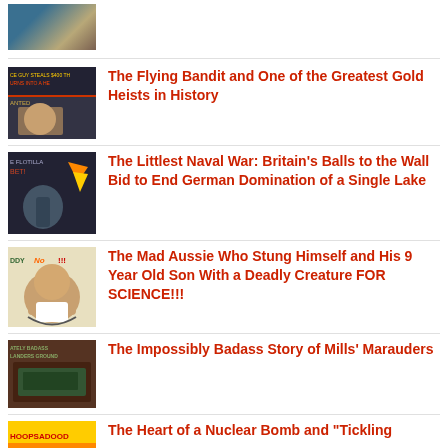[Figure (photo): Partial thumbnail image at top, cut off]
The Flying Bandit and One of the Greatest Gold Heists in History
The Littlest Naval War: Britain’s Balls to the Wall Bid to End German Domination of a Single Lake
The Mad Aussie Who Stung Himself and His 9 Year Old Son With a Deadly Creature FOR SCIENCE!!!
The Impossibly Badass Story of Mills’ Marauders
The Heart of a Nuclear Bomb and “Tickling